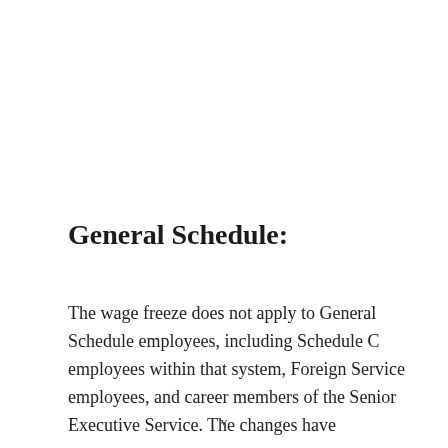General Schedule:
The wage freeze does not apply to General Schedule employees, including Schedule C employees within that system, Foreign Service employees, and career members of the Senior Executive Service. The changes have
v